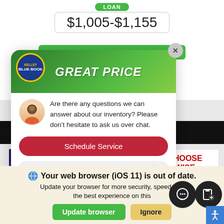LOAN
$1,005-$1,155
See PERSONALIZED PAYMENTS NOW!
[Figure (screenshot): Kelley Blue Book GREAT PRICE badge with chat popup overlay showing avatar of a man, text asking about inventory questions, a Schedule Service button, and a message input field. Behind the popup is a dealer website with Nissan branding bar and Choose Wise logo.]
Are there any questions we can answer about our inventory? Please don’t hesitate to ask us over chat.
Schedule Service
Enter your message
website and our service.
Your web browser (iOS 11) is out of date.
Update your browser for more security, speed and the best experience on this
Update browser
Ignore